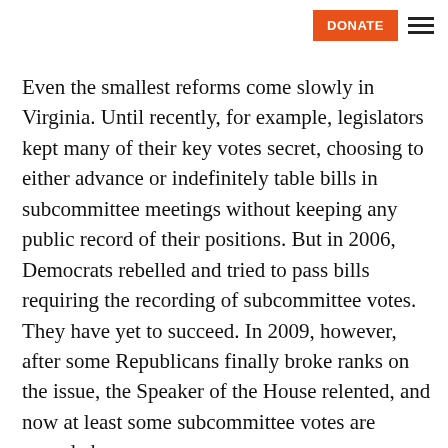DONATE
Even the smallest reforms come slowly in Virginia. Until recently, for example, legislators kept many of their key votes secret, choosing to either advance or indefinitely table bills in subcommittee meetings without keeping any public record of their positions. But in 2006, Democrats rebelled and tried to pass bills requiring the recording of subcommittee votes. They have yet to succeed. In 2009, however, after some Republicans finally broke ranks on the issue, the Speaker of the House relented, and now at least some subcommittee votes are recorded.